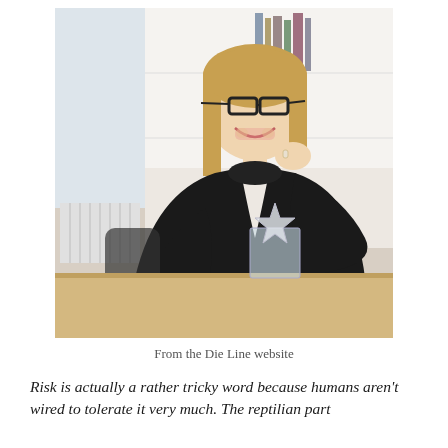[Figure (photo): A woman with blonde hair and black-rimmed glasses, wearing a black turtleneck sweater, smiling and resting her chin on her hand at a desk. There is a clear acrylic award/sculpture on the desk in front of her. Office setting with a window in the background.]
From the Die Line website
Risk is actually a rather tricky word because humans aren't wired to tolerate it very much. The reptilian part